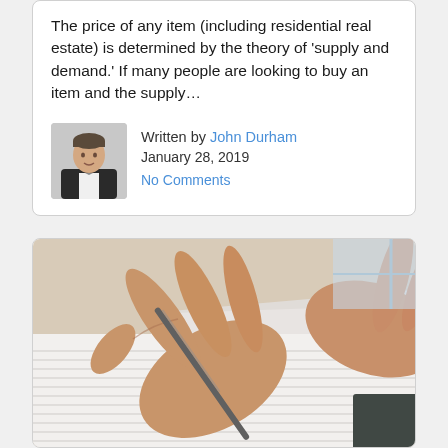The price of any item (including residential real estate) is determined by the theory of 'supply and demand.' If many people are looking to buy an item and the supply…
Written by John Durham
January 28, 2019
No Comments
[Figure (photo): Close-up photo of hands holding a pen over lined paper documents, suggesting signing or reviewing paperwork.]